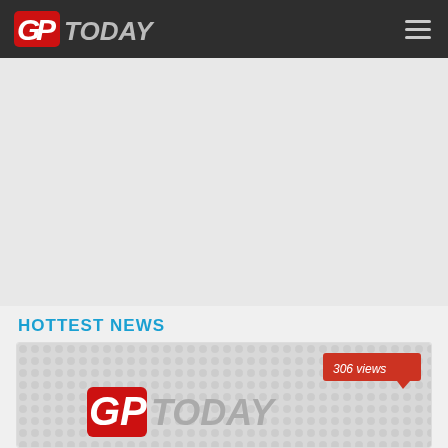GP Today
[Figure (other): Advertisement / empty ad placeholder area]
HOTTEST NEWS
[Figure (illustration): News card thumbnail showing GP Today logo on dotted grey background with '306 views' badge in red]